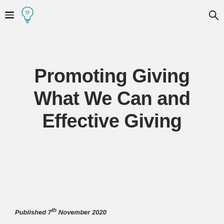☰ [logo] [search]
Promoting Giving What We Can and Effective Giving
Published 7th November 2020